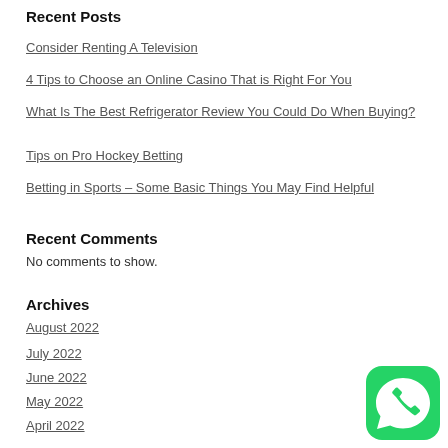Recent Posts
Consider Renting A Television
4 Tips to Choose an Online Casino That is Right For You
What Is The Best Refrigerator Review You Could Do When Buying?
Tips on Pro Hockey Betting
Betting in Sports – Some Basic Things You May Find Helpful
Recent Comments
No comments to show.
Archives
August 2022
July 2022
June 2022
May 2022
April 2022
March 2022
February 2022
[Figure (logo): WhatsApp icon - green rounded square with white phone handset inside speech bubble]